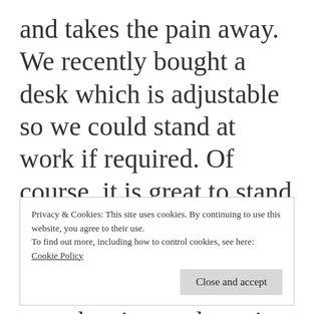and takes the pain away. We recently bought a desk which is adjustable so we could stand at work if required. Of course, it is great to stand and do work on computers all day. But then I realised my knees were hurting to the point that I had to use an
Privacy & Cookies: This site uses cookies. By continuing to use this website, you agree to their use.
To find out more, including how to control cookies, see here: Cookie Policy